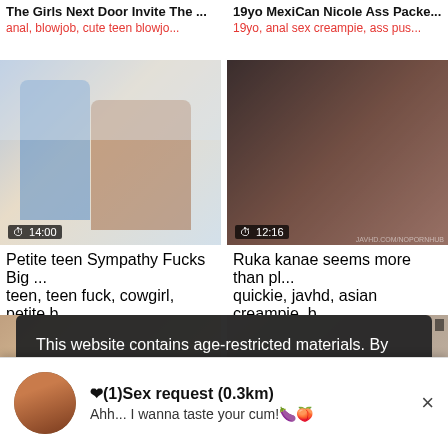The Girls Next Door Invite The ...
anal, blowjob, cute teen blowjo...
19yo MexiCan Nicole Ass Packe...
19yo, anal sex creampie, ass pus...
[Figure (screenshot): Video thumbnail: man and woman in kitchen, duration 14:00]
[Figure (screenshot): Video thumbnail: two people, duration 12:16]
Petite teen Sympathy Fucks Big ...
teen, teen fuck, cowgirl, petite b...
Ruka kanae seems more than pl...
quickie, javhd, asian creampie, b...
[Figure (screenshot): Partial video thumbnail left]
[Figure (screenshot): Partial video thumbnail right]
This website contains age-restricted materials. By using this site, you hereby verify that you are age 18 and older and agree to comply with all the Privacy Policy.
We use cookies to provide you the best possible
❤(1)Sex request (0.3km)
Ahh... I wanna taste your cum!🍆🍑